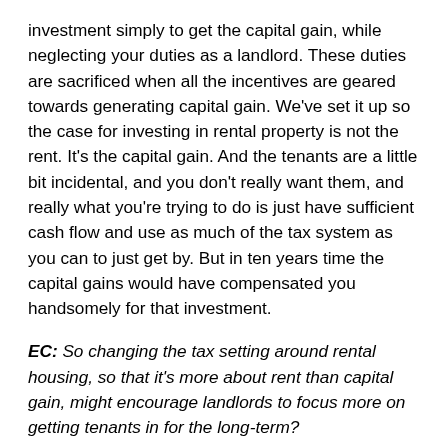investment simply to get the capital gain, while neglecting your duties as a landlord. These duties are sacrificed when all the incentives are geared towards generating capital gain. We've set it up so the case for investing in rental property is not the rent. It's the capital gain. And the tenants are a little bit incidental, and you don't really want them, and really what you're trying to do is just have sufficient cash flow and use as much of the tax system as you can to just get by. But in ten years time the capital gains would have compensated you handsomely for that investment.
EC: So changing the tax setting around rental housing, so that it's more about rent than capital gain, might encourage landlords to focus more on getting tenants in for the long-term?